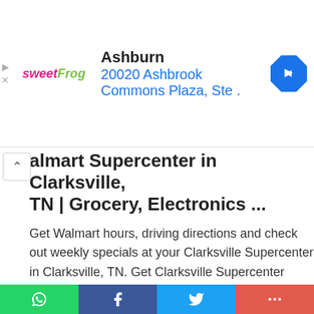[Figure (other): sweetFrog ad banner with logo, Ashburn location text, address, and blue navigation diamond icon]
almart Supercenter in Clarksville, TN | Grocery, Electronics ...
Get Walmart hours, driving directions and check out weekly specials at your Clarksville Supercenter in Clarksville, TN. Get Clarksville Supercenter store hours and driving directions, buy online, and pick up in-store at 2315 Madison St, Clarksville, TN 37043 or call undefined
[Continue..]
www.walmart.com
Walmart Supercenter in Clarksville,